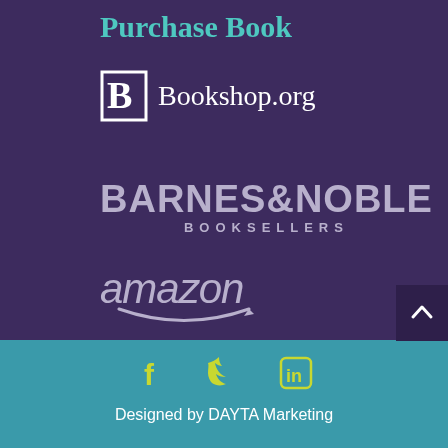Purchase Book
[Figure (logo): Bookshop.org logo with stylized B icon and text]
[Figure (logo): Barnes & Noble Booksellers logo in muted purple/grey]
[Figure (logo): Amazon logo in italic grey text with smile arrow]
[Figure (logo): Social media icons: Facebook, Twitter, LinkedIn in yellow-green]
Designed by DAYTA Marketing